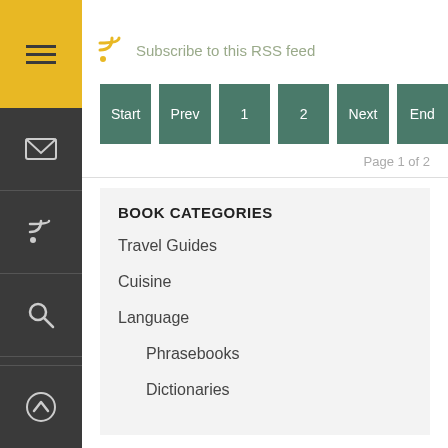Subscribe to this RSS feed
Start Prev 1 2 Next End
Page 1 of 2
BOOK CATEGORIES
Travel Guides
Cuisine
Language
Phrasebooks
Dictionaries